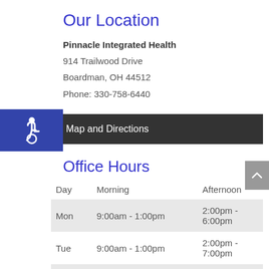Our Location
Pinnacle Integrated Health
914 Trailwood Drive
Boardman, OH 44512
Phone: 330-758-6440
[Figure (infographic): Blue accessibility wheelchair icon on dark blue background beside a dark 'Map and Directions' button bar]
Office Hours
| Day | Morning | Afternoon |
| --- | --- | --- |
| Mon | 9:00am - 1:00pm | 2:00pm - 6:00pm |
| Tue | 9:00am - 1:00pm | 2:00pm - 7:00pm |